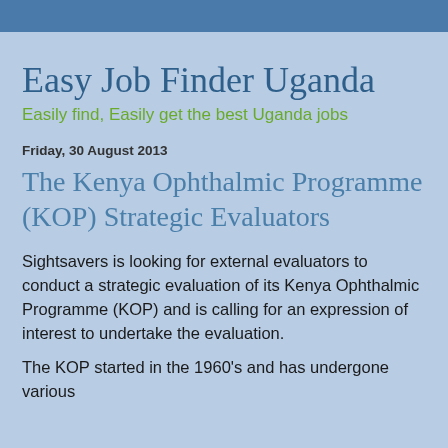Easy Job Finder Uganda
Easily find, Easily get the best Uganda jobs
Friday, 30 August 2013
The Kenya Ophthalmic Programme (KOP) Strategic Evaluators
Sightsavers is looking for external evaluators to conduct a strategic evaluation of its Kenya Ophthalmic Programme (KOP) and is calling for an expression of interest to undertake the evaluation.
The KOP started in the 1960's and has undergone various